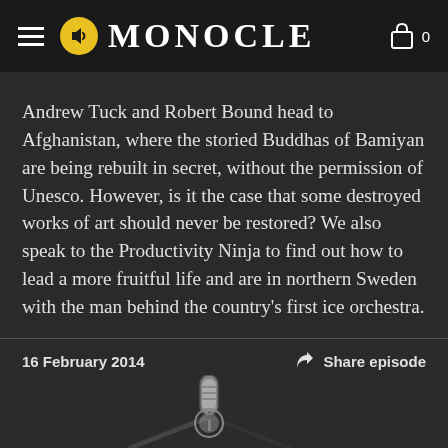MONOCLE
Andrew Tuck and Robert Bound head to Afghanistan, where the storied Buddhas of Bamiyan are being rebuilt in secret, without the permission of Unesco. However, is it the case that some destroyed works of art should never be restored? We also speak to the Productivity Ninja to find out how to lead a more fruitful life and are in northern Sweden with the man behind the country's first ice orchestra.
16 February 2014
Share episode
[Figure (photo): Black and white photo of a studio microphone on a boom arm stand, partially cropped at the bottom of the page]